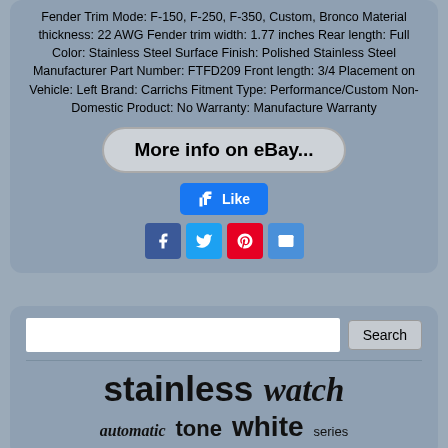Fender Trim Mode: F-150, F-250, F-350, Custom, Bronco Material thickness: 22 AWG Fender trim width: 1.77 inches Rear length: Full Color: Stainless Steel Surface Finish: Polished Stainless Steel Manufacturer Part Number: FTFD209 Front length: 3/4 Placement on Vehicle: Left Brand: Carrichs Fitment Type: Performance/Custom Non-Domestic Product: No Warranty: Manufacture Warranty
[Figure (other): eBay listing button with text 'More info on eBay...']
[Figure (other): Facebook Like button]
[Figure (other): Social sharing icons: Facebook, Twitter, Pinterest, Email]
[Figure (other): Search input field with Search button]
stainless watch automatic tone white series